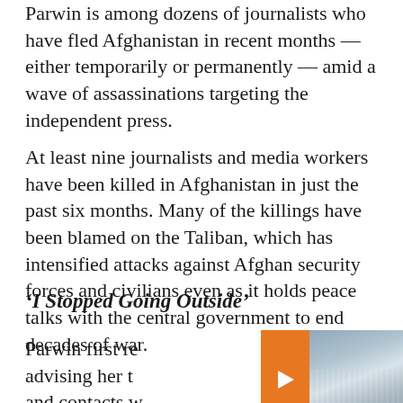Parwin is among dozens of journalists who have fled Afghanistan in recent months -- either temporarily or permanently -- amid a wave of assassinations targeting the independent press.
At least nine journalists and media workers have been killed in Afghanistan in just the past six months. Many of the killings have been blamed on the Taliban, which has intensified attacks against Afghan security forces and civilians even as it holds peace talks with the central government to end decades of war.
‘I Stopped Going Outside’
Parwin first re… advising her to… and contacts w…
[Figure (photo): A crowd of people visible at bottom, overlaid with an orange arrow button. Related article thumbnail showing a large crowd of people outdoors.]
As Fighters Return, Pakistanis Fear A Repeat Of Taliban Carnage